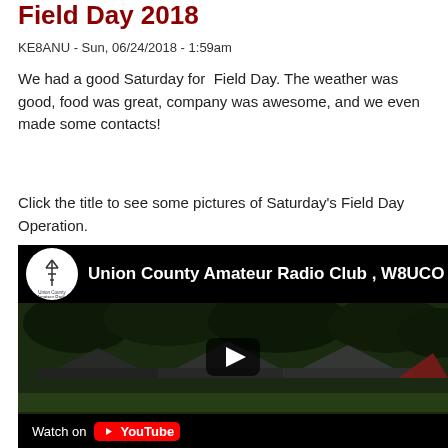Field Day 2018
KE8ANU - Sun, 06/24/2018 - 1:59am
We had a good Saturday for Field Day. The weather was good, food was great, company was awesome, and we even made some contacts!
Click the title to see some pictures of Saturday's Field Day Operation.
[Figure (screenshot): YouTube video embed showing Union County Amateur Radio Club W8UCO Field Day video. Thumbnail shows tents set up outdoors under trees. Video header shows club logo and title. Footer shows Watch on YouTube button.]